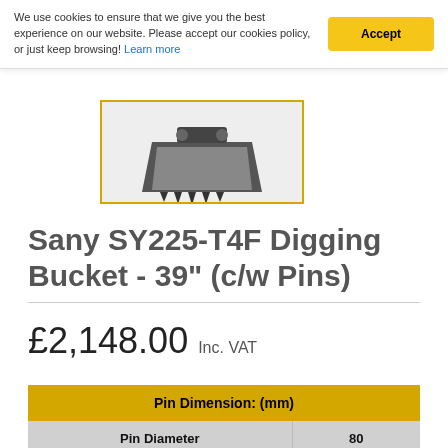We use cookies to ensure that we give you the best experience on our website. Please accept our cookies policy, or just keep browsing! Learn more
[Figure (photo): Photograph of a digging bucket attachment with multiple teeth, shown from a low-angle view inside a yellow-bordered frame]
Sany SY225-T4F Digging Bucket - 39" (c/w Pins)
£2,148.00 Inc. VAT
| Pin Dimension: (mm) |  |
| --- | --- |
| Pin Diameter | 80 |
| Dipper Gap | 310 |